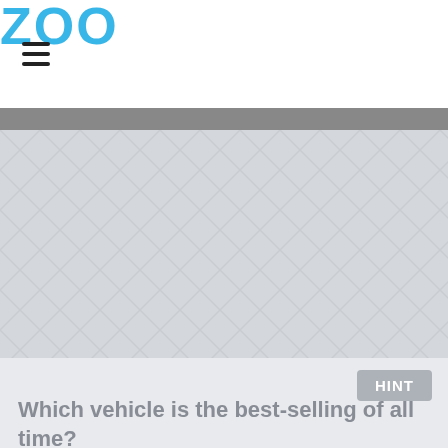ZOO
[Figure (illustration): Large image placeholder with a light gray background featuring a repeating chevron/herringbone pattern in slightly darker gray.]
HINT
Which vehicle is the best-selling of all time?